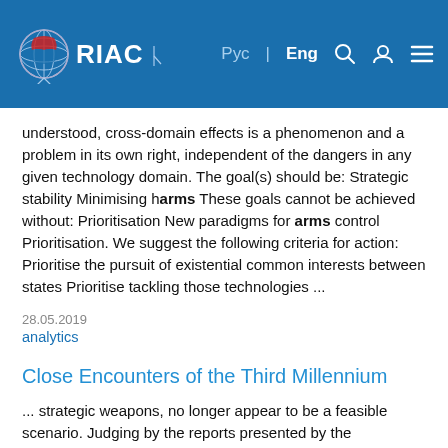RIAC | Рус | Eng
understood, cross-domain effects is a phenomenon and a problem in its own right, independent of the dangers in any given technology domain. The goal(s) should be: Strategic stability Minimising harms These goals cannot be achieved without: Prioritisation New paradigms for arms control Prioritisation. We suggest the following criteria for action: Prioritise the pursuit of existential common interests between states Prioritise tackling those technologies ...
28.05.2019
analytics
Close Encounters of the Third Millennium
... strategic weapons, no longer appear to be a feasible scenario. Judging by the reports presented by the conference participants, the arms race in this area has already begun, and the...